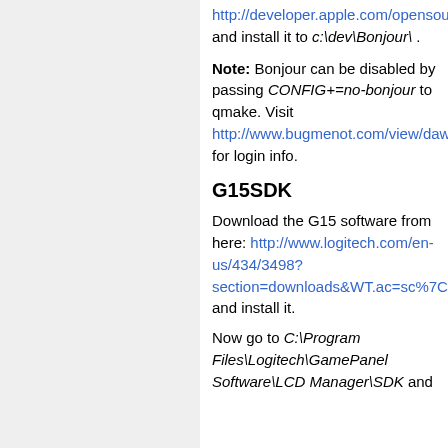http://developer.apple.com/opensource/ and install it to c:\dev\Bonjour\ .
Note: Bonjour can be disabled by passing CONFIG+=no-bonjour to qmake. Visit http://www.bugmenot.com/view/daw.apple.com for login info.
G15SDK
Download the G15 software from here: http://www.logitech.com/en-us/434/3498?section=downloads&WT.ac=sc%7Cdownloads%7C%7Cdd and install it.
Now go to C:\Program Files\Logitech\GamePanel Software\LCD Manager\SDK and